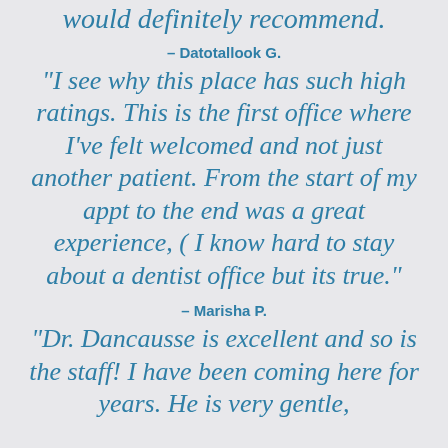would definitely recommend.
– Datotallook G.
“I see why this place has such high ratings. This is the first office where I’ve felt welcomed and not just another patient. From the start of my appt to the end was a great experience, ( I know hard to stay about a dentist office but its true.”
– Marisha P.
“Dr. Dancausse is excellent and so is the staff! I have been coming here for years. He is very gentle,